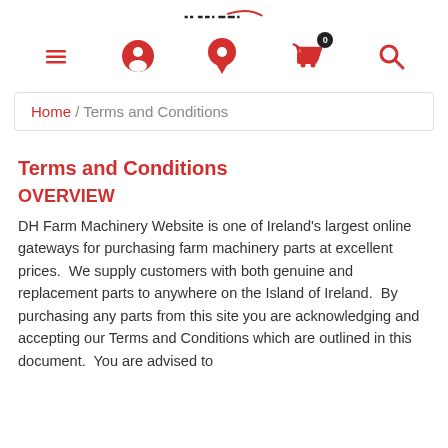Navigation bar with menu, account, location, cart (0), and search icons
Home / Terms and Conditions
Terms and Conditions
OVERVIEW
DH Farm Machinery Website is one of Ireland's largest online gateways for purchasing farm machinery parts at excellent prices.  We supply customers with both genuine and replacement parts to anywhere on the Island of Ireland.  By purchasing any parts from this site you are acknowledging and accepting our Terms and Conditions which are outlined in this document.  You are advised to